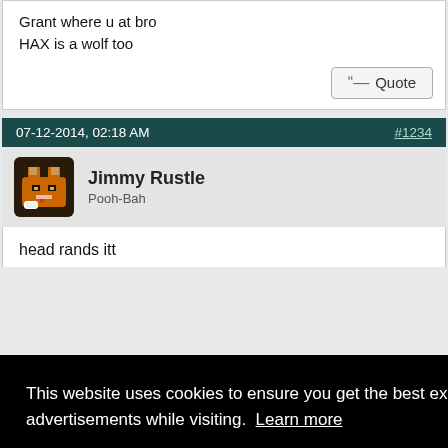Grant where u at bro
HAX is a wolf too
Quote
07-12-2014, 02:18 AM   #1234
Jimmy Rustle
Pooh-Bah
head rands itt
This website uses cookies to ensure you get the best experience and relevant advertisements while visiting. Learn more
Got it!
#1235
Quote: